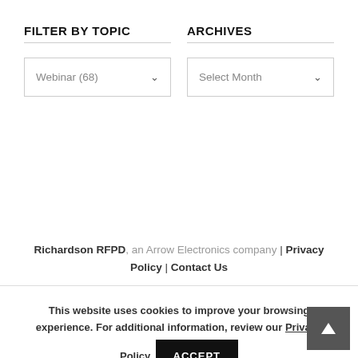FILTER BY TOPIC
ARCHIVES
Webinar  (68)
Select Month
Richardson RFPD, an Arrow Electronics company | Privacy Policy | Contact Us
This website uses cookies to improve your browsing experience. For additional information, review our Privacy Policy.
ACCEPT